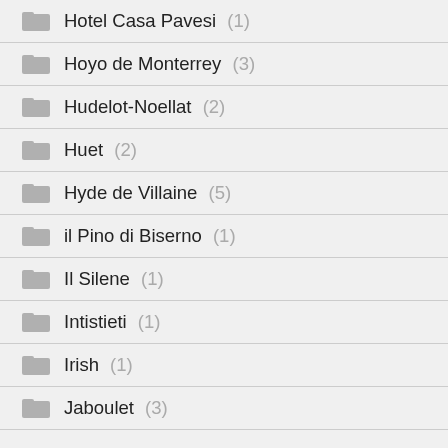Hotel Casa Pavesi (1)
Hoyo de Monterrey (3)
Hudelot-Noellat (2)
Huet (2)
Hyde de Villaine (5)
il Pino di Biserno (1)
Il Silene (1)
Intistieti (1)
Irish (1)
Jaboulet (3)